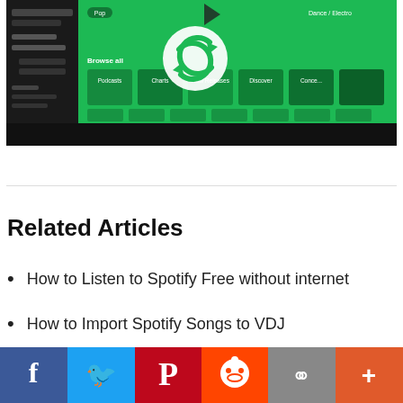[Figure (screenshot): Spotify app interface screenshot showing genre pills (Pop, Dance/Electro), a sync/refresh icon overlay, browse categories with green cards, and a black bottom bar.]
Related Articles
How to Listen to Spotify Free without internet
How to Import Spotify Songs to VDJ
[Figure (infographic): Social sharing bar with Facebook, Twitter, Pinterest, Reddit, link, and more (+) buttons.]